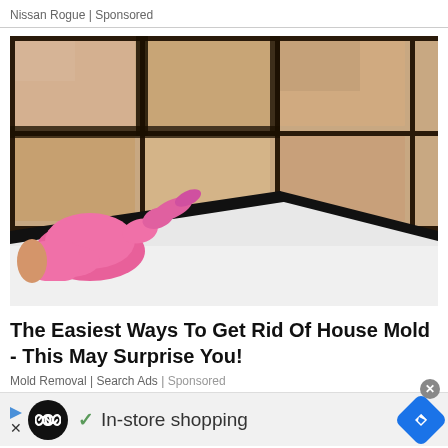Nissan Rogue | Sponsored
[Figure (photo): A hand wearing a pink rubber glove pointing at black mold on the grout lines of beige bathroom tiles above a white bathtub edge.]
The Easiest Ways To Get Rid Of House Mold - This May Surprise You!
Mold Removal | Search Ads | Sponsored
[Figure (infographic): Bottom ad bar with play icon, looping icon (black circle with infinity symbol), checkmark and 'In-store shopping' text, blue diamond navigation icon, and close X button.]